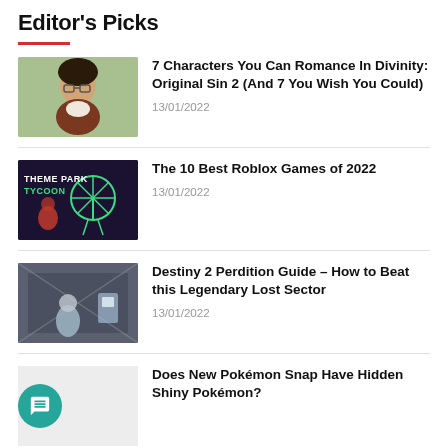Editor's Picks
7 Characters You Can Romance In Divinity: Original Sin 2 (And 7 You Wish You Could) — 13/01/2022
The 10 Best Roblox Games of 2022 — 13/01/2022
Destiny 2 Perdition Guide – How to Beat this Legendary Lost Sector — 13/01/2022
Does New Pokémon Snap Have Hidden Shiny Pokémon?